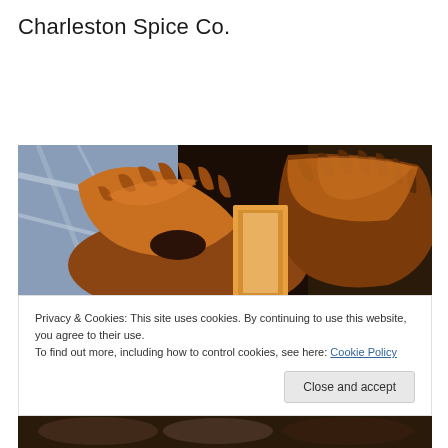Charleston Spice Co.
[Figure (photo): Close-up photo of a glazed caramel bundt cake on a blue and white patterned cloth, showing rich caramel glaze dripping over the ridged surface]
Privacy & Cookies: This site uses cookies. By continuing to use this website, you agree to their use.
To find out more, including how to control cookies, see here: Cookie Policy
[Figure (photo): Partial view of another food photograph at the bottom of the page]